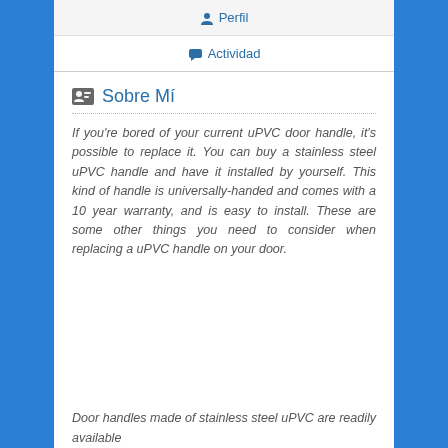Perfil
Actividad
Sobre Mí
If you're bored of your current uPVC door handle, it's possible to replace it. You can buy a stainless steel uPVC handle and have it installed by yourself. This kind of handle is universally-handed and comes with a 10 year warranty, and is easy to install. These are some other things you need to consider when replacing a uPVC handle on your door.
Door handles made of stainless steel uPVC are readily available